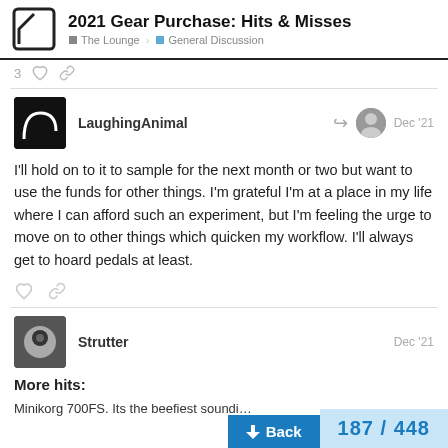2021 Gear Purchase: Hits & Misses — The Lounge > General Discussion
3 [likes] [link]
LaughingAnimal Dec '21
I'll hold on to it to sample for the next month or two but want to use the funds for other things. I'm grateful I'm at a place in my life where I can afford such an experiment, but I'm feeling the urge to move on to other things which quicken my workflow. I'll always get to hoard pedals at least.
Strutter Dec '21
More hits:
Minikorg 700FS. Its the beefiest soundi...
↓ Back
187 / 448